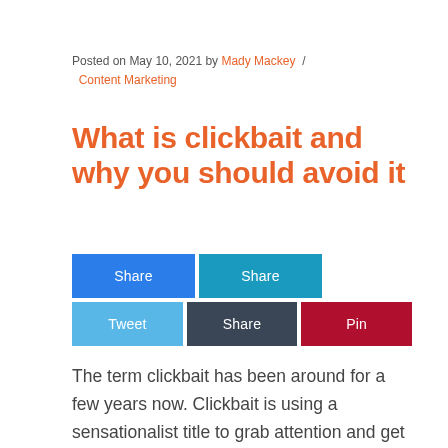Posted on May 10, 2021 by Mady Mackey / Content Marketing
What is clickbait and why you should avoid it
[Figure (other): Social share buttons: Share (Facebook blue), Share (teal), Tweet (light blue), Share (dark slate), Pin (dark red)]
The term clickbait has been around for a few years now. Clickbait is using a sensationalist title to grab attention and get people to consume your content. The bottom line is that clickbait is really a form of online trickery.